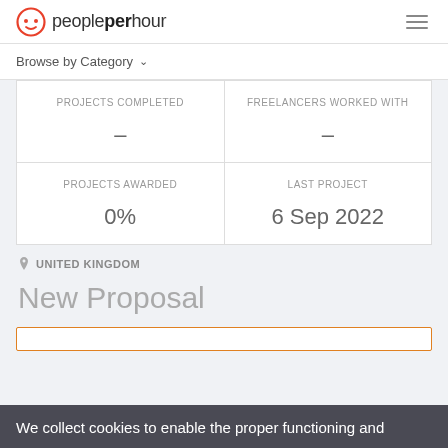peopleperhour
Browse by Category
| PROJECTS COMPLETED | FREELANCERS WORKED WITH |
| --- | --- |
| - | - |
| PROJECTS AWARDED | LAST PROJECT |
| --- | --- |
| 0% | 6 Sep 2022 |
UNITED KINGDOM
New Proposal
We collect cookies to enable the proper functioning and